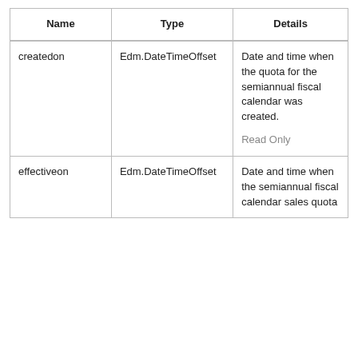| Name | Type | Details |
| --- | --- | --- |
| createdon | Edm.DateTimeOffset | Date and time when the quota for the semiannual fiscal calendar was created.

Read Only |
| effectiveon | Edm.DateTimeOffset | Date and time when the semiannual fiscal calendar sales quota |